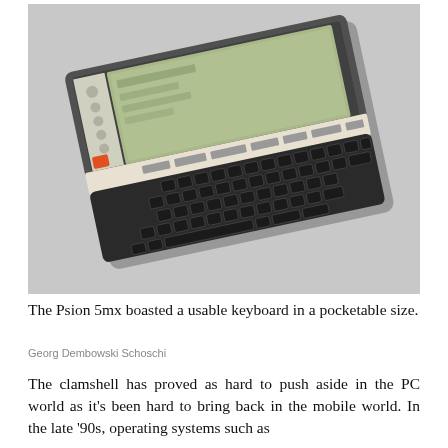[Figure (photo): A Psion 5mx PDA device shown open with its clamshell design, displaying a green-tinted LCD screen with a menu interface and a full QWERTY keyboard below, photographed at an angle on a grey surface.]
The Psion 5mx boasted a usable keyboard in a pocketable size.
Georg Dembowski Schoschi
The clamshell has proved as hard to push aside in the PC world as it's been hard to bring back in the mobile world. In the late '90s, operating systems such as